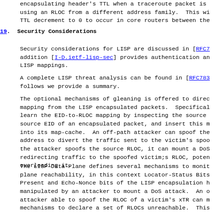encapsulating header's TTL when a traceroute packet is using an RLOC from a different address family.  This wi TTL decrement to 0 to occur in core routers between the
19.  Security Considerations
Security considerations for LISP are discussed in [RFC7 addition [I-D.ietf-lisp-sec] provides authentication an LISP mappings.
A complete LISP threat analysis can be found in [RFC783 follows we provide a summary.
The optional mechanisms of gleaning is offered to direc mapping from the LISP encapsulated packets.  Specifical learn the EID-to-RLOC mapping by inspecting the source source EID of an encapsulated packet, and insert this m into its map-cache.  An off-path attacker can spoof the address to divert the traffic sent to the victim's spoo the attacker spoofs the source RLOC, it can mount a DoS redirecting traffic to the spoofed victim;s RLOC, poten overloading it.
The LISP Data-Plane defines several mechanisms to monit plane reachability, in this context Locator-Status Bits Present and Echo-Nonce bits of the LISP encapsulation h manipulated by an attacker to mount a DoS attack.  An o attacker able to spoof the RLOC of a victim's xTR can m mechanisms to declare a set of RLOCs unreachable.  This